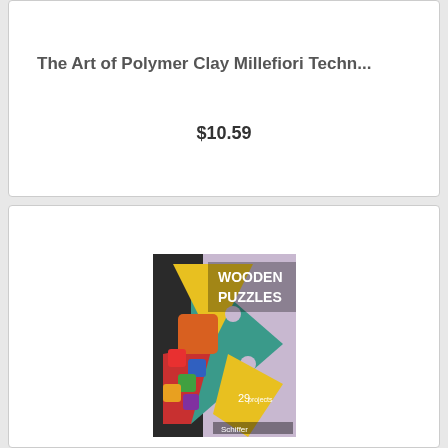The Art of Polymer Clay Millefiori Techn...
$10.59
[Figure (photo): Book cover of 'Wooden Puzzles' showing colorful interlocking puzzle pieces arranged in a star shape, published by Schiffer, with text '29' visible on the cover.]